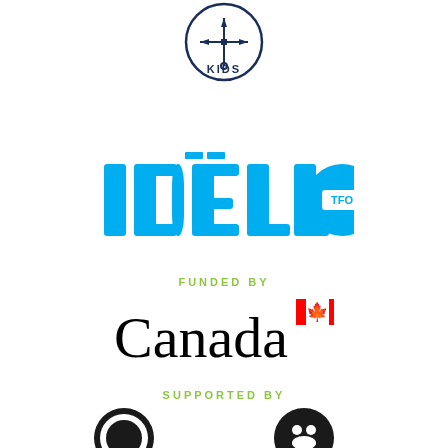[Figure (logo): TFO Kids logo — circular badge with compass/weather vane icon and 'KIDS' text in dark navy blue]
[Figure (logo): IDELLO TFO logo in bright cyan/blue with stylized lettering and TFO badge]
FUNDED BY
[Figure (logo): Government of Canada wordmark with maple leaf flag symbol]
SUPPORTED BY
[Figure (logo): Partial logos of supporting organizations at bottom of page (cropped)]